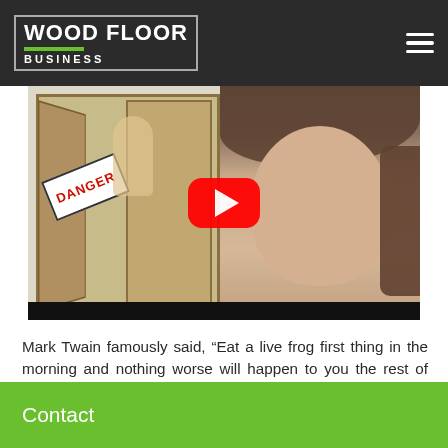WOOD FLOOR BUSINESS
[Figure (screenshot): YouTube video thumbnail showing a split image: left side is an animated illustration with a door and a 'DANGER' sign, right side shows a woman's face. A red YouTube play button is centered over the image. Below the thumbnail is a black progress bar.]
Mark Twain famously said, “Eat a live frog first thing in the morning and nothing worse will happen to you the rest of the day.” Apply this mentality to your to-do list. Get your most unpleasant task out of the way first and your day will only get better from there.
Contact